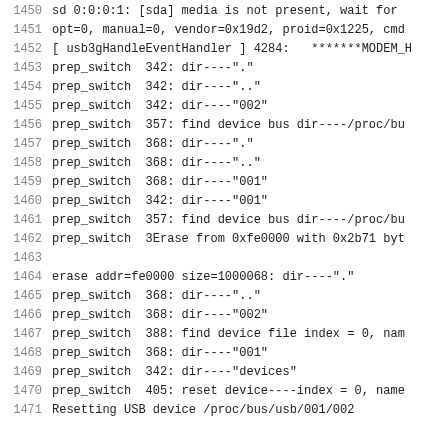1450   sd 0:0:0:1: [sda] media is not present, wait for
1451   opt=0, manual=0, vendor=0x19d2, proid=0x1225, cmd
1452   [ usb3gHandleEventHandler ] 4284:   *******MODEM_H
1453   prep_switch  342: dir----"."
1454   prep_switch  342: dir----".."
1455   prep_switch  342: dir----"002"
1456   prep_switch  357: find device bus dir----/proc/bu
1457   prep_switch  368: dir----"."
1458   prep_switch  368: dir----".."
1459   prep_switch  368: dir----"001"
1460   prep_switch  342: dir----"001"
1461   prep_switch  357: find device bus dir----/proc/bu
1462   prep_switch  3Erase from 0xfe0000 with 0x2b71 byt
1463
1464   erase addr=fe0000 size=1000068: dir----"."
1465   prep_switch  368: dir----".."
1466   prep_switch  368: dir----"002"
1467   prep_switch  388: find device file index = 0, nam
1468   prep_switch  368: dir----"001"
1469   prep_switch  342: dir----"devices"
1470   prep_switch  405: reset device----index = 0, name
1471   Resetting USB device /proc/bus/usb/001/002